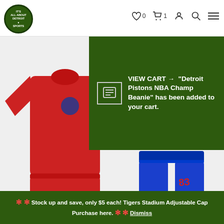Detroit Bad Boys store header with logo, wishlist (0), cart (1), account, search, and menu icons
[Figure (screenshot): Green notification banner: VIEW CART → "Detroit Pistons NBA Champ Beanie" has been added to your cart.]
[Figure (photo): Red Detroit Pistons logo core tech T-shirt product image on left, blue Detroit Pistons pajama pants on right]
Detroit Pistons Combine Red Logo Core Tech T-Shirt
Detroit Pistons Men's Pajama Pants
$27.99  $15.00
[Figure (other): Google rating widget showing 4.7 stars with orange stars and Google label]
SELECT OPTIONS
SELECT OPTIONS
🌟🌟 Stock up and save, only $5 each! Tigers Stadium Adjustable Cap Purchase here. 🌟🌟 Dismiss